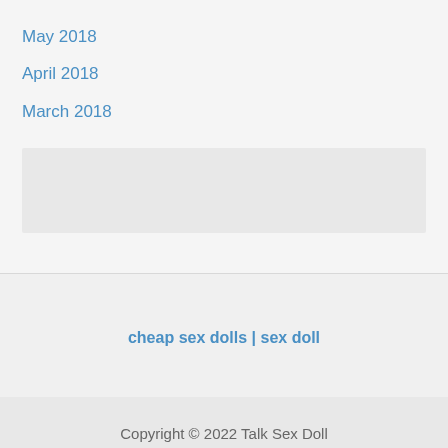May 2018
April 2018
March 2018
[Figure (other): Gray placeholder box]
cheap sex dolls | sex doll
Copyright © 2022 Talk Sex Doll